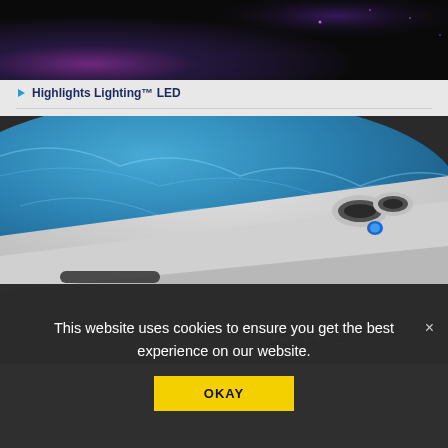[Figure (photo): Dark background image showing colorful lighting effect — purple and blue tones against a dark/black background, top portion of a hot tub or spa scene.]
Highlights Lighting™ LED
[Figure (photo): Close-up photo of a white hot tub or spa edge with blue water and LED lighting visible, cup holders on the right side, and the word 'Ever' in italic script visible at bottom right.]
This website uses cookies to ensure you get the best experience on our website.
OKAY